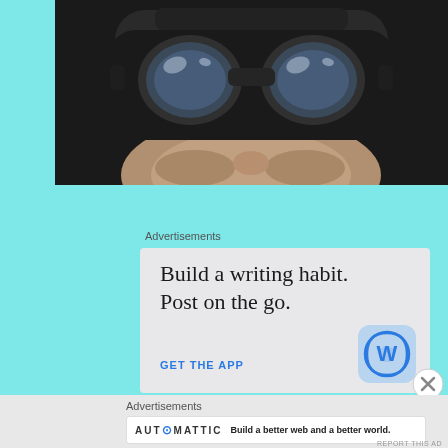[Figure (photo): Close-up of a person wearing a VR/AR headset, dark background, face visible from nose down with stubble, metallic headset with reflective lenses]
Advertisements
[Figure (infographic): WordPress app advertisement on light gray background. Large serif text reads 'Build a writing habit. Post on the go.' Blue call-to-action text 'GET THE APP' and WordPress logo icon in blue rounded square on right.]
[Figure (logo): Close button (X in circle) on right side]
Advertisements
[Figure (infographic): Automattic advertisement banner: 'AUTOMATTIC' logo in uppercase with blue dot, tagline 'Build a better web and a better world.']
REPORT THIS AD